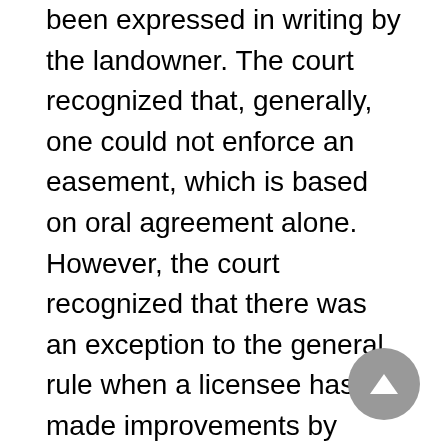been expressed in writing by the landowner. The court recognized that, generally, one could not enforce an easement, which is based on oral agreement alone. However, the court recognized that there was an exception to the general rule when a licensee has made improvements by expending money or labor in the execution of the license, such that the license becomes irrevocable. Then the licensee gains the right to enter the lands for the purpose of maintaining the structures built thereon, as long as the structures need maintenance. The court found that in this case the nature of the license was converted to an easement by the licensee's expenditures of labor and money, and that the easement will continue as long as the ditch